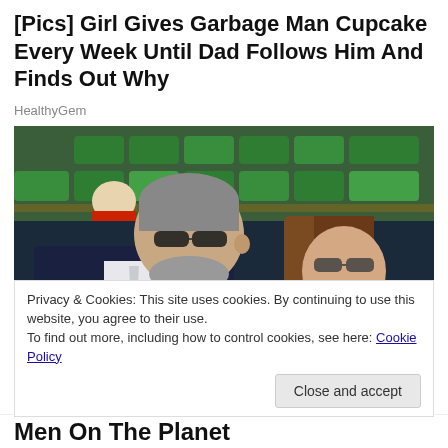[Pics] Girl Gives Garbage Man Cupcake Every Week Until Dad Follows Him And Finds Out Why
HealthyGem
[Figure (photo): A middle-aged man in a dark suit with a light tie and sunglasses sits next to a young woman with long brown hair wearing sunglasses and a floral top, in what appears to be stadium seating with green chairs in the background.]
Privacy & Cookies: This site uses cookies. By continuing to use this website, you agree to their use.
To find out more, including how to control cookies, see here: Cookie Policy
Close and accept
Men On The Planet